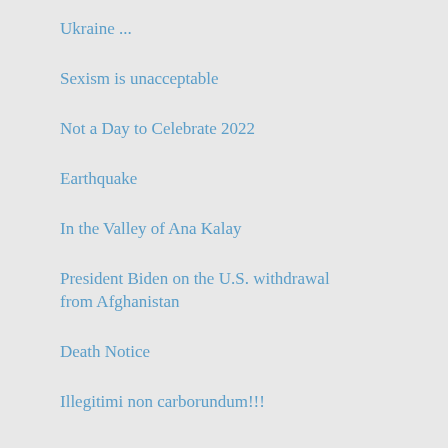Ukraine ...
Sexism is unacceptable
Not a Day to Celebrate 2022
Earthquake
In the Valley of Ana Kalay
President Biden on the U.S. withdrawal from Afghanistan
Death Notice
Illegitimi non carborundum!!!